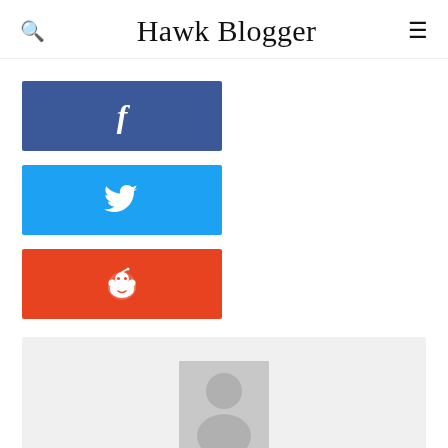Hawk Blogger
[Figure (logo): Facebook share button — blue rectangle with white 'f' icon]
[Figure (logo): Twitter share button — sky blue rectangle with white bird icon]
[Figure (logo): Reddit share button — orange rectangle with white Reddit alien icon]
[Figure (photo): User profile section with grey background, placeholder avatar image (grey square with white person silhouette), and username 'podcrew' below]